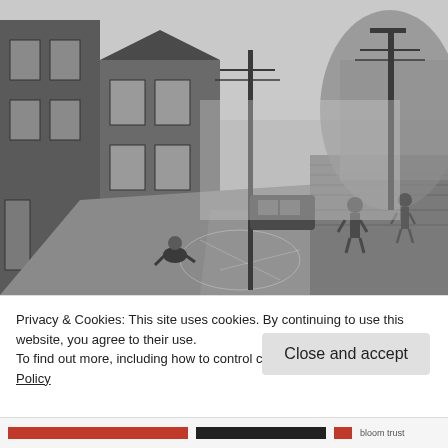[Figure (photo): Black and white photograph of a street scene with children playing in the road. Terraced brick houses on the left, a stone wall on the right, and large ship hulls visible in the misty background. Telephone/electricity poles visible. One child sits on the kerb, two others stand in the road with chalk drawings on the ground.]
Privacy & Cookies: This site uses cookies. By continuing to use this website, you agree to their use.
To find out more, including how to control cookies, see here: Cookie Policy
Close and accept